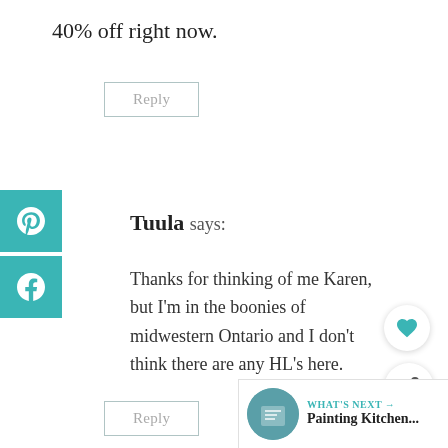40% off right now.
Reply
Tuula says:
Thanks for thinking of me Karen, but I'm in the boonies of midwestern Ontario and I don't think there are any HL's here.
Reply
[Figure (other): WHAT'S NEXT arrow label with Painting Kitchen... thumbnail]
[Figure (other): Pinterest social share button (teal)]
[Figure (other): Facebook social share button (teal)]
[Figure (other): Floating heart button]
[Figure (other): Floating share button]